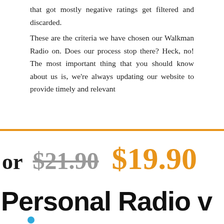that got mostly negative ratings get filtered and discarded. These are the criteria we have chosen our Walkman Radio on. Does our process stop there? Heck, no! The most important thing that you should know about us is, we're always updating our website to provide timely and relevant
or $21.90 $19.90
Personal Radio
•